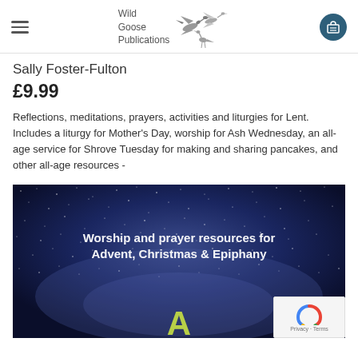Wild Goose Publications
Sally Foster-Fulton
£9.99
Reflections, meditations, prayers, activities and liturgies for Lent. Includes a liturgy for Mother's Day, worship for Ash Wednesday, an all-age service for Shrove Tuesday for making and sharing pancakes, and other all-age resources -
[Figure (photo): Book cover with dark starry night sky background showing text 'Worship and prayer resources for Advent, Christmas & Epiphany' and a large yellow letter A at the bottom]